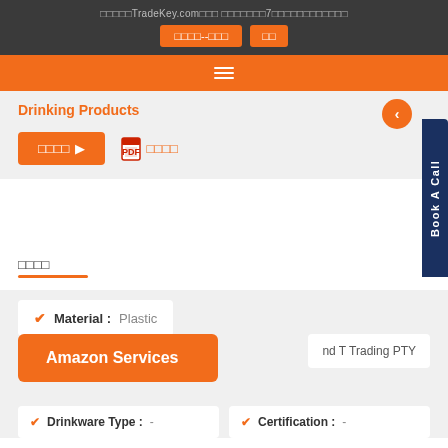TradeKey.com   7
Drinking Products
Amazon Services
公司资料
| Material | Value |
| --- | --- |
| Material : | Plastic |
| Drinkware Type : | - |
| Certification : | - |
nd T Trading PTY
Book A Call